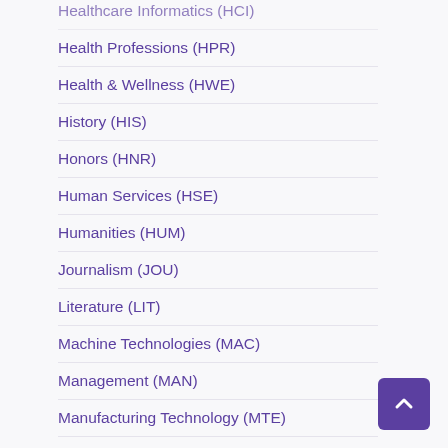Healthcare Informatics (HCI)
Health Professions (HPR)
Health & Wellness (HWE)
History (HIS)
Honors (HNR)
Human Services (HSE)
Humanities (HUM)
Journalism (JOU)
Literature (LIT)
Machine Technologies (MAC)
Management (MAN)
Manufacturing Technology (MTE)
Marketing (MAR)
Mathematics (MAT)
Medical Assistant Professional (MAP)